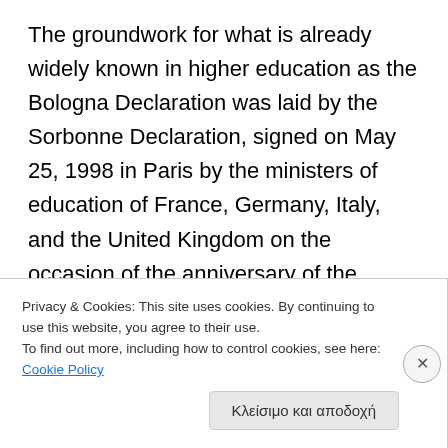The groundwork for what is already widely known in higher education as the Bologna Declaration was laid by the Sorbonne Declaration, signed on May 25, 1998 in Paris by the ministers of education of France, Germany, Italy, and the United Kingdom on the occasion of the anniversary of the university of Paris. In this "Joint declaration on harmonization of the architecture of the European higher education system," the ministers of four dominant countries of the European Union, stated that [Europe is] heading for a period of major change in education and working conditions, to a diversification of
Privacy & Cookies: This site uses cookies. By continuing to use this website, you agree to their use.
To find out more, including how to control cookies, see here: Cookie Policy